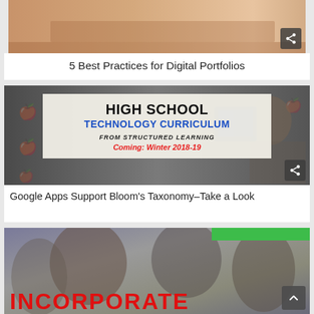[Figure (photo): Partial view of a photo (top of page, mostly cropped) showing a warm-toned classroom scene]
5 Best Practices for Digital Portfolios
[Figure (illustration): High School Technology Curriculum promotional image with text overlay: HIGH SCHOOL TECHNOLOGY CURRICULUM FROM STRUCTURED LEARNING Coming: Winter 2018-19]
Google Apps Support Bloom’s Taxonomy–Take a Look
[Figure (photo): Blurred photo of students with red text INCORPORATE partially visible at bottom]